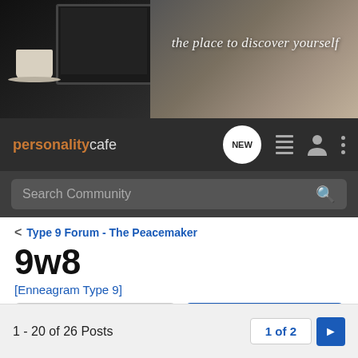[Figure (screenshot): Website banner with coffee/laptop background and italic tagline 'the place to discover yourself']
personality cafe — navigation bar with NEW badge, list icon, person icon, dots menu
Search Community
< Type 9 Forum - The Peacemaker
9w8
[Enneagram Type 9]
→ Jump to Latest
+ Follow
1 - 20 of 26 Posts
1 of 2